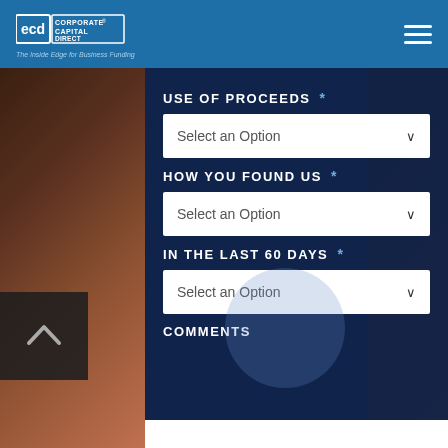CCD Corporate Capital Direct — The Inside Edge for Business Funding
USE OF PROCEEDS *
Select an Option
HOW YOU FOUND US *
Select an Option
IN THE LAST 60 DAYS *
Select an Option
COMMENTS